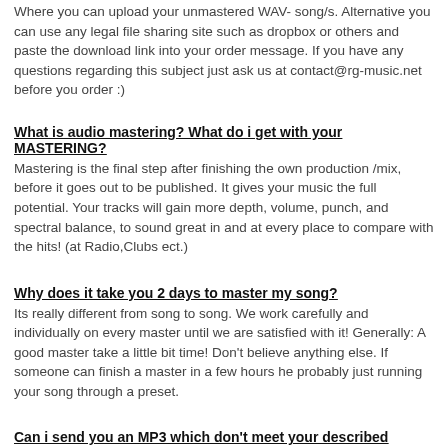Where you can upload your unmastered WAV- song/s. Alternative you can use any legal file sharing site such as dropbox or others and paste the download link into your order message. If you have any questions regarding this subject just ask us at contact@rg-music.net before you order :)
What is audio mastering? What do i get with your MASTERING?
Mastering is the final step after finishing the own production /mix, before it goes out to be published. It gives your music the full potential. Your tracks will gain more depth, volume, punch, and spectral balance, to sound great in and at every place to compare with the hits! (at Radio,Clubs ect.)
Why does it take you 2 days to master my song?
Its really different from song to song. We work carefully and individually on every master until we are satisfied with it! Generally: A good master take a little bit time! Don't believe anything else. If someone can finish a master in a few hours he probably just running your song through a preset.
Can i send you an MP3 which don't meet your described